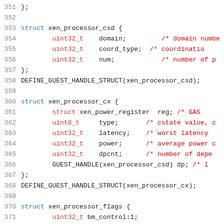Source code listing: C struct definitions for xen_processor_csd, xen_processor_cx, and xen_processor_flags (lines 351-371)